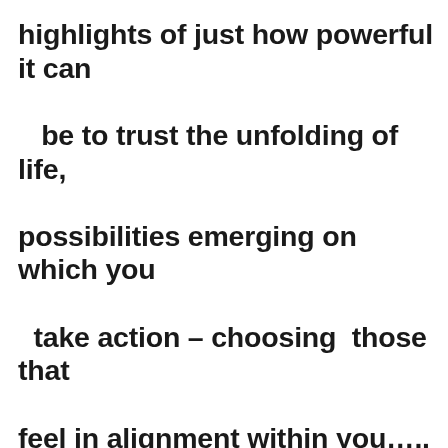highlights of just how powerful it can be to trust the unfolding of life, possibilities emerging on which you take action – choosing  those that feel in alignment within you….. just like an improvisational dance.